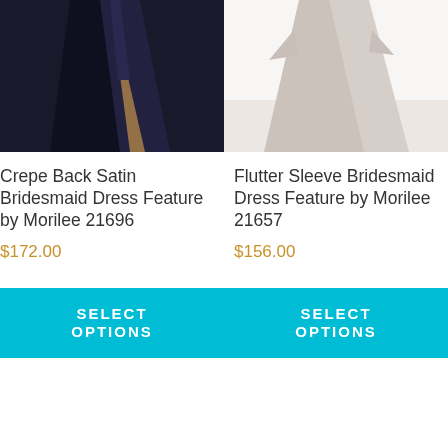[Figure (photo): Product photo of Crepe Back Satin Bridesmaid Dress, dark navy fabric with a slit, cropped to show lower portion of dress]
[Figure (photo): Product photo of Flutter Sleeve Bridesmaid Dress, light lavender/grey fabric, cropped to show lower portion of dress]
Crepe Back Satin Bridesmaid Dress Feature by Morilee 21696
Flutter Sleeve Bridesmaid Dress Feature by Morilee 21657
$172.00
$156.00
SELECT OPTIONS
SELECT OPTIONS